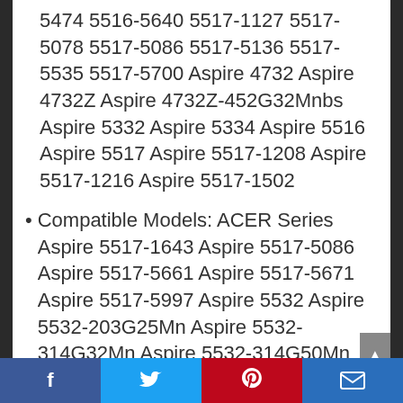5474 5516-5640 5517-1127 5517-5078 5517-5086 5517-5136 5517-5535 5517-5700 Aspire 4732 Aspire 4732Z Aspire 4732Z-452G32Mnbs Aspire 5332 Aspire 5334 Aspire 5516 Aspire 5517 Aspire 5517-1208 Aspire 5517-1216 Aspire 5517-1502
Compatible Models: ACER Series Aspire 5517-1643 Aspire 5517-5086 Aspire 5517-5661 Aspire 5517-5671 Aspire 5517-5997 Aspire 5532 Aspire 5532-203G25Mn Aspire 5532-314G32Mn Aspire 5532-314G50Mn Aspire 5532-5509 Aspire
Facebook | Twitter | Pinterest | Email